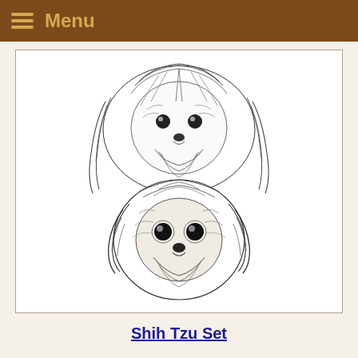Menu
[Figure (illustration): Pen-and-ink line drawings of two Shih Tzu dog faces stacked vertically: the top dog has longer flowing hair and a groomed appearance; the bottom dog has shorter, rounder fur and a darker, fluffier look. Both are front-facing portraits in black and white sketch style.]
Shih Tzu Set